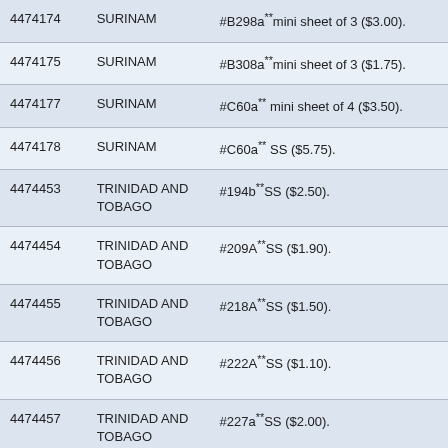| 4474174 | SURINAM | #B298a**mini sheet of 3 ($3.00). |
| 4474175 | SURINAM | #B308a**mini sheet of 3 ($1.75). |
| 4474177 | SURINAM | #C60a** mini sheet of 4 ($3.50). |
| 4474178 | SURINAM | #C60a** SS ($5.75). |
| 4474453 | TRINIDAD AND TOBAGO | #194b**SS ($2.50). |
| 4474454 | TRINIDAD AND TOBAGO | #209A**SS ($1.90). |
| 4474455 | TRINIDAD AND TOBAGO | #218A**SS ($1.50). |
| 4474456 | TRINIDAD AND TOBAGO | #222A**SS ($1.10). |
| 4474457 | TRINIDAD AND TOBAGO | #227a**SS ($2.00). |
| 4474458 | TRINIDAD AND | #230a**SS ($1.75). |